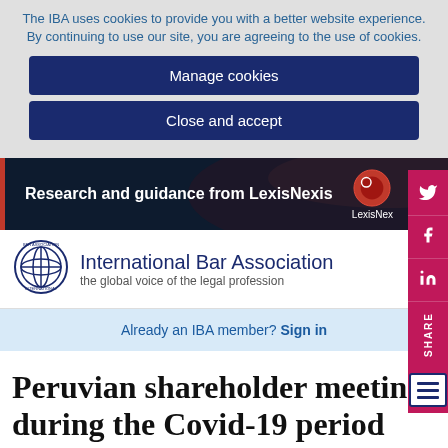The IBA uses cookies to provide you with a better website experience. By continuing to use our site, you are agreeing to the use of cookies.
Manage cookies
Close and accept
[Figure (screenshot): LexisNexis advertisement banner: 'Research and guidance from LexisNexis' on dark navy background with red swirl graphic and LexisNexis logo]
[Figure (logo): International Bar Association logo - circular seal with globe and star pattern]
International Bar Association
the global voice of the legal profession
Already an IBA member? Sign in
Peruvian shareholder meetings during the Covid-19 period and the